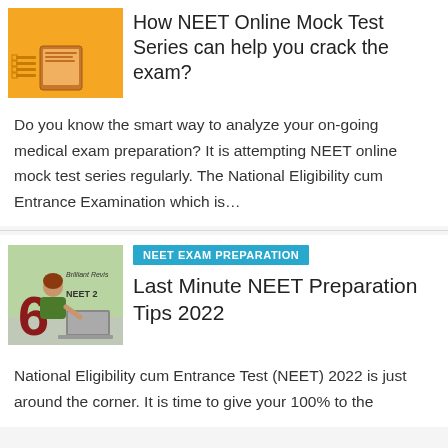[Figure (illustration): Orange thumbnail image for NEET Online Mock Test Series article, showing text 'HOW NEET Test Can Help Crack the...' on orange background]
How NEET Online Mock Test Series can help you crack the exam?
Do you know the smart way to analyze your on-going medical exam preparation? It is attempting NEET online mock test series regularly. The National Eligibility cum Entrance Examination which is…
[Figure (illustration): Thumbnail showing a student with laptop, large red '6' and text 'Brilliant Revis' and 'NEET 2' on green/illustrated background]
NEET EXAM PREPARATION
Last Minute NEET Preparation Tips 2022
National Eligibility cum Entrance Test (NEET) 2022 is just around the corner. It is time to give your 100% to the